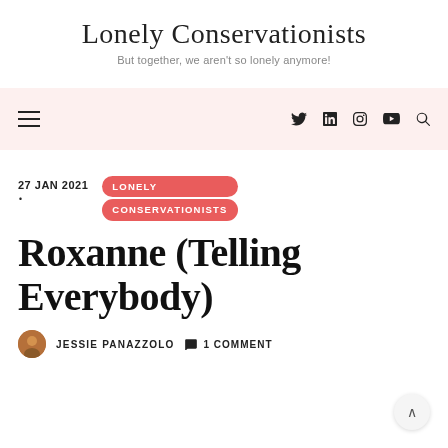Lonely Conservationists
But together, we aren't so lonely anymore!
27 JAN 2021 · LONELY CONSERVATIONISTS
Roxanne (Telling Everybody)
JESSIE PANAZZOLO · 1 COMMENT